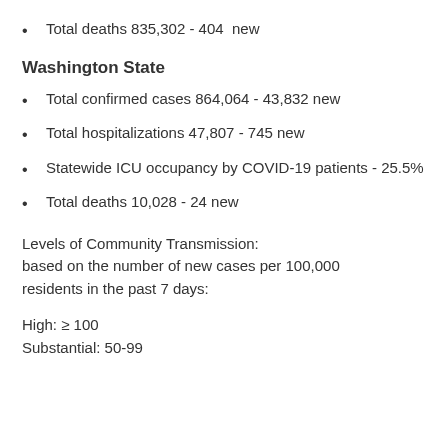Total deaths 835,302 - 404  new
Washington State
Total confirmed cases 864,064 - 43,832 new
Total hospitalizations 47,807 - 745 new
Statewide ICU occupancy by COVID-19 patients - 25.5%
Total deaths 10,028 - 24 new
Levels of Community Transmission:
based on the number of new cases per 100,000 residents in the past 7 days:
High: ≥ 100
Substantial: 50-99